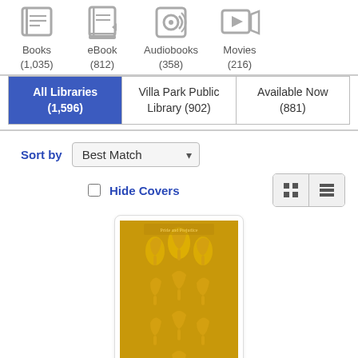[Figure (screenshot): Library catalog search results UI showing format icons (Books 1035, eBook 812, Audiobooks 358, Movies 216), filter tabs (All Libraries 1596, Villa Park Public Library 902, Available Now 881), sort by Best Match dropdown, Hide Covers checkbox, grid/list view toggle, and a book cover (gold/yellow Penguin Classic design with decorative birds), with a green scroll-to-top button.]